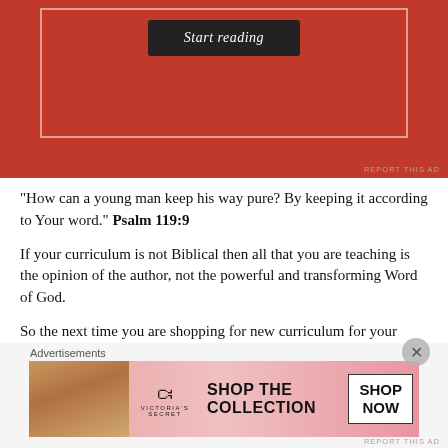[Figure (other): Red advertisement banner with 'Start reading' button inside a white-bordered box]
REPORT THIS AD
"How can a young man keep his way pure? By keeping it according to Your word." Psalm 119:9
If your curriculum is not Biblical then all that you are teaching is the opinion of the author, not the powerful and transforming Word of God.
So the next time you are shopping for new curriculum for your children's ministry I exhort you to examine everything carefully against the light of Scripture to see if it is Biblical. Always keeping in mind the great responsibility that you have as a children's ministry leader.
If the curriculum passes the Biblical test, then have fun looking for the
Advertisements
[Figure (other): Victoria's Secret advertisement banner with model photo, VS logo, 'SHOP THE COLLECTION' text, and 'SHOP NOW' button]